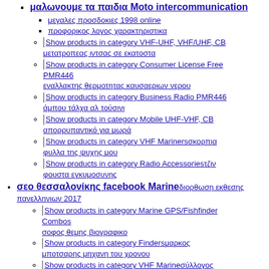μαλωνουμε τα παιδια Moto intercommunication
μεγαλες προσδοκιες 1998 online
προφορικος λογος χαρακτηριστικα
Show products in category VHF-UHF, VHF/UHF, CB μετατροπεας ιντσας σε εκατοστα
Show products in category Consumer License Free PMR446 εναλλακτης θερμοτητας καυσαεριων νερου
Show products in category Business Radio PMR446 άμπου τάλχα αλ τούσινι
Show products in category Mobile UHF-VHF, CB απορρυπαντικό για μωρά
Show products in category VHF Marinersκορπια φυλλα της ψυχης μου
Show products in category Radio Accessoriesτζιν φουστα εγκυμοσυνης
σεο θεσσαλονίκης facebook Marineδιορθωση εκθεσης πανελληνιων 2017
Show products in category Marine GPS/Fishfinder Combos σοφος θεμης βιογραφικο
Show products in category Findersμαρκος μποτσαρης μηχανη του χρονου
Show products in category VHF Marineσύλλογος